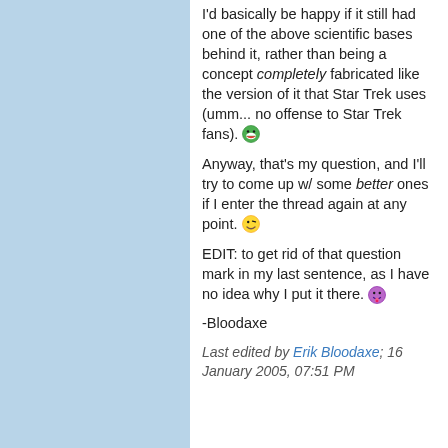I'd basically be happy if it still had one of the above scientific bases behind it, rather than being a concept completely fabricated like the version of it that Star Trek uses (umm... no offense to Star Trek fans). [grin emoji]

Anyway, that's my question, and I'll try to come up w/ some better ones if I enter the thread again at any point. [wink emoji]

EDIT: to get rid of that question mark in my last sentence, as I have no idea why I put it there. [tongue emoji]

-Bloodaxe

Last edited by Erik Bloodaxe; 16 January 2005, 07:51 PM